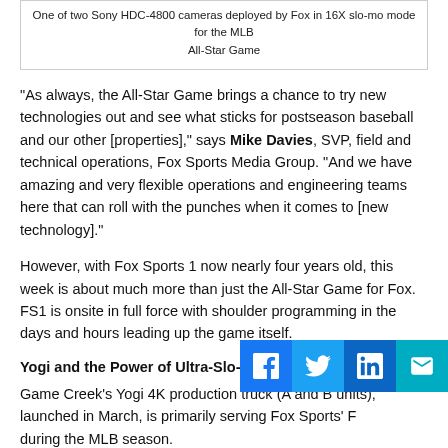One of two Sony HDC-4800 cameras deployed by Fox in 16X slo-mo mode for the MLB All-Star Game
“As always, the All-Star Game brings a chance to try new technologies out and see what sticks for postseason baseball and our other [properties],” says Mike Davies, SVP, field and technical operations, Fox Sports Media Group. “And we have amazing and very flexible operations and engineering teams here that can roll with the punches when it comes to [new technology].”
However, with Fox Sports 1 now nearly four years old, this week is about much more than just the All-Star Game for Fox. FS1 is onsite in full force with shoulder programming in the days and hours leading up the game itself.
Yogi and the Power of Ultra-Slo-Mo
Game Creek’s Yogi 4K production truck (A and B units), launched in March, is primarily serving Fox Sports’ F during the MLB season.